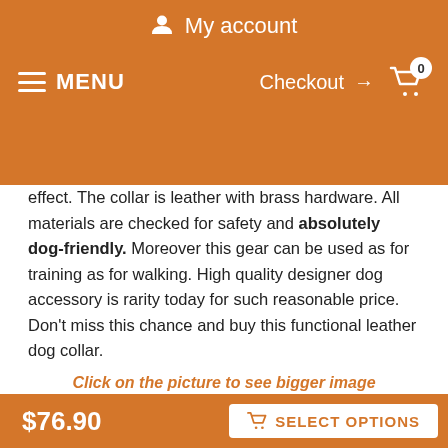My account
MENU    Checkout → 0
effect. The collar is leather with brass hardware. All materials are checked for safety and absolutely dog-friendly. Moreover this gear can be used as for training as for walking. High quality designer dog accessory is rarity today for such reasonable price. Don't miss this chance and buy this functional leather dog collar.
Click on the picture to see bigger image
[Figure (photo): Leather dog collar with studs and brass hardware shown on a dog mannequin]
Leather dog collar
$76.90    SELECT OPTIONS